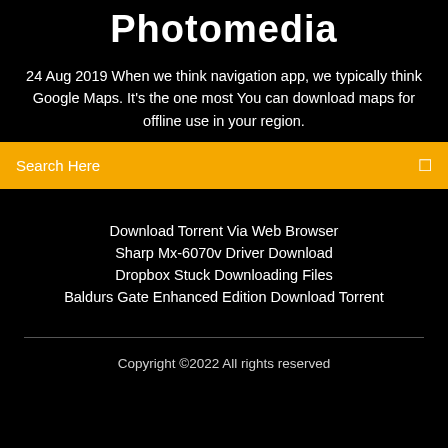Photomedia
24 Aug 2019 When we think navigation app, we typically think Google Maps. It's the one most You can download maps for offline use in your region.
Search Here
Download Torrent Via Web Browser
Sharp Mx-6070v Driver Download
Dropbox Stuck Downloading Files
Baldurs Gate Enhanced Edition Download Torrent
Copyright ©2022 All rights reserved